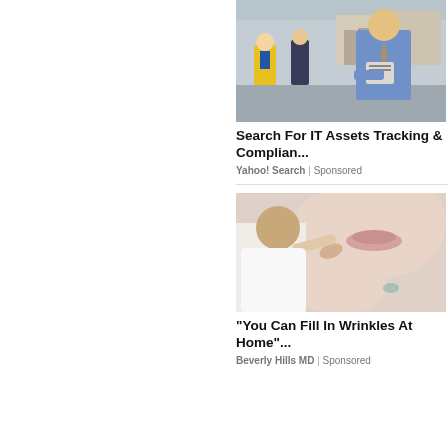[Figure (photo): Warehouse scene with a man in blue shirt holding a clipboard/tablet and a worker in yellow safety vest]
Search For IT Assets Tracking & Complian...
Yahoo! Search | Sponsored
[Figure (photo): Close-up of a woman's face with a doctor or aesthetician touching near her lips, beauty/cosmetic treatment]
"You Can Fill In Wrinkles At Home"...
Beverly Hills MD | Sponsored